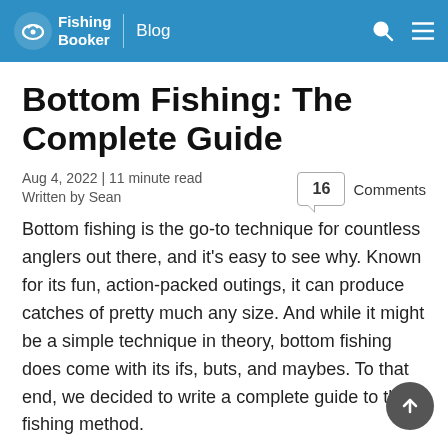FishingBooker | Blog
Bottom Fishing: The Complete Guide
Aug 4, 2022 | 11 minute read
Written by Sean
16 Comments
Bottom fishing is the go-to technique for countless anglers out there, and it's easy to see why. Known for its fun, action-packed outings, it can produce catches of pretty much any size. And while it might be a simple technique in theory, bottom fishing does come with its ifs, buts, and maybes. To that end, we decided to write a complete guide to this fishing method.